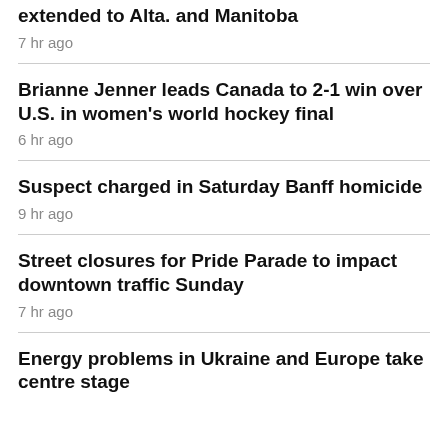extended to Alta. and Manitoba
7 hr ago
Brianne Jenner leads Canada to 2-1 win over U.S. in women's world hockey final
6 hr ago
Suspect charged in Saturday Banff homicide
9 hr ago
Street closures for Pride Parade to impact downtown traffic Sunday
7 hr ago
Energy problems in Ukraine and Europe take centre stage